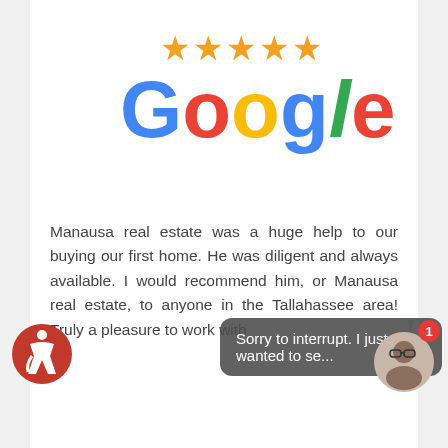at Joe
[Figure (other): Five orange star rating icons]
[Figure (logo): Google logo in multicolor (blue, red, yellow, blue, green, red)]
Manausa real estate was a huge help to our buying our first home. He was diligent and always available. I would recommend him, or Manausa real estate, to anyone in the Tallahassee area! Truly a pleasure to work with
John Shepard
Rating
Can't
[Figure (other): Five orange star rating icons]
[Figure (logo): Google logo partial]
Sorry to interrupt. I just wanted to se...
first